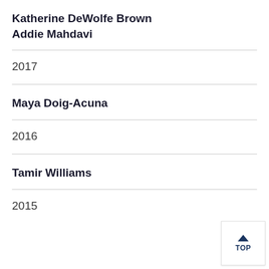Katherine DeWolfe Brown
Addie Mahdavi
2017
Maya Doig-Acuna
2016
Tamir Williams
2015